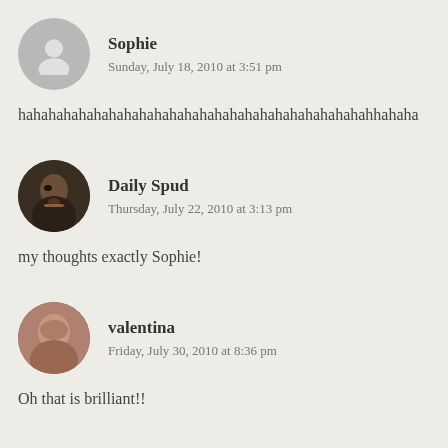Sophie — Sunday, July 18, 2010 at 3:51 pm
hahahahahahahahahahahahahahahahahahahahahahahahhahaha
Daily Spud — Thursday, July 22, 2010 at 3:13 pm
my thoughts exactly Sophie!
valentina — Friday, July 30, 2010 at 8:36 pm
Oh that is brilliant!!